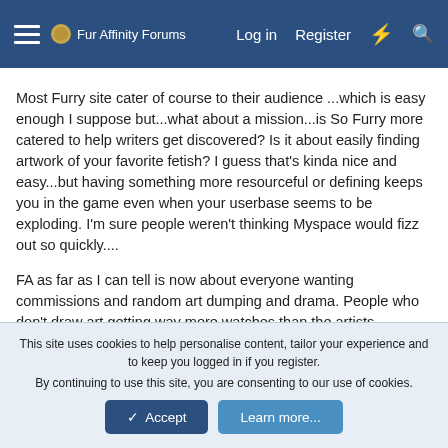Fur Affinity Forums — Log in  Register
Most Furry site cater of course to their audience ...which is easy enough I suppose but...what about a mission...is So Furry more catered to help writers get discovered? Is it about easily finding artwork of your favorite fetish? I guess that's kinda nice and easy...but having something more resourceful or defining keeps you in the game even when your userbase seems to be exploding. I'm sure people weren't thinking Myspace would fizz out so quickly....
FA as far as I can tell is now about everyone wanting commissions and random art dumping and drama. People who don't draw art getting way more watches than the artists because they've commissioned the hell out of a character lol (it's not hate, just observation). While it's randomness was a bit...
This site uses cookies to help personalise content, tailor your experience and to keep you logged in if you register.
By continuing to use this site, you are consenting to our use of cookies.